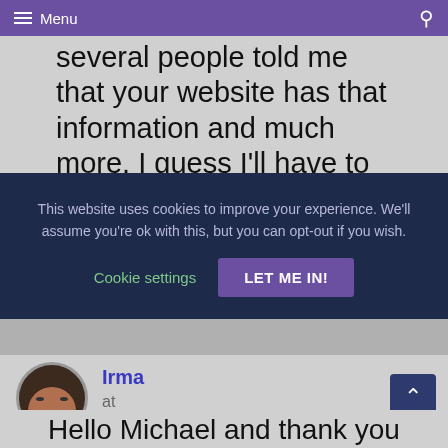Menu
several people told me that your website has that information and much more. I guess I'll have to just get started! Thanks for your great
This website uses cookies to improve your experience. We'll assume you're ok with this, but you can opt-out if you wish.
Cookie settings  LET ME IN!
Irma
at
Hello Michael and thank you